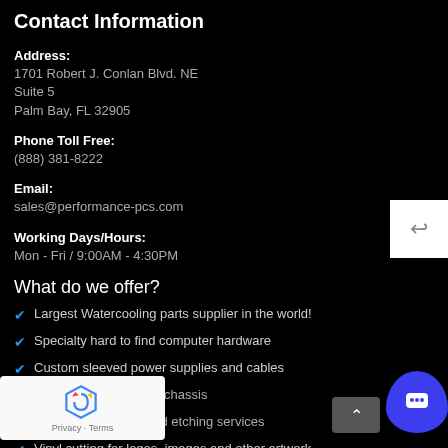Contact Information
Address:
1701 Robert J. Conlan Blvd. NE
Suite 5
Palm Bay, FL 32905
Phone Toll Free:
(888) 381-8222
Email:
sales@performance-pcs.com
Working Days/Hours:
Mon - Fri / 9:00AM - 4:30PM
What do we offer?
Largest Watercooling parts supplier in the world!
Specialty hard to find computer hardware
Custom sleeved power supplies and cables
ed high-end computer chassis
Cutting,fabrication, and etching services
Vinyl cutting for logos, images and other artwork